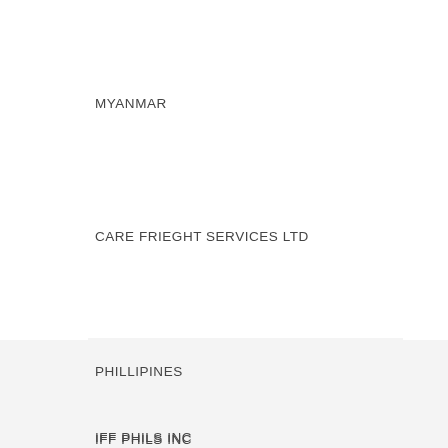MYANMAR
CARE FRIEGHT SERVICES LTD
PHILLIPINES
IFF PHILS INC
SINGAPORE
CROSS WORLD INT.FREIGHT
SOUTH AFRICA